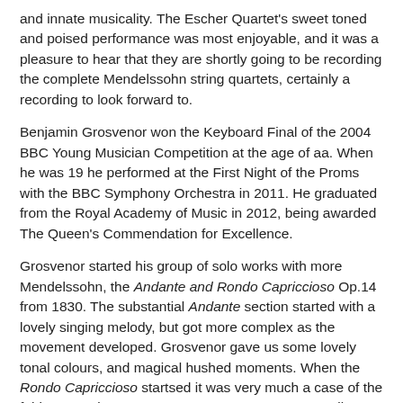and innate musicality. The Escher Quartet's sweet toned and poised performance was most enjoyable, and it was a pleasure to hear that they are shortly going to be recording the complete Mendelssohn string quartets, certainly a recording to look forward to.
Benjamin Grosvenor won the Keyboard Final of the 2004 BBC Young Musician Competition at the age of aa. When he was 19 he performed at the First Night of the Proms with the BBC Symphony Orchestra in 2011. He graduated from the Royal Academy of Music in 2012, being awarded The Queen's Commendation for Excellence.
Grosvenor started his group of solo works with more Mendelssohn, the Andante and Rondo Capriccioso Op.14 from 1830. The substantial Andante section started with a lovely singing melody, but got more complex as the movement developed. Grosvenor gave us some lovely tonal colours, and magical hushed moments. When the Rondo Capriccioso startsed it was very much a case of the fairies returning. Here Grosvenor gave us some really dazzling fingerwork, still combined with a lovely feel for tonal